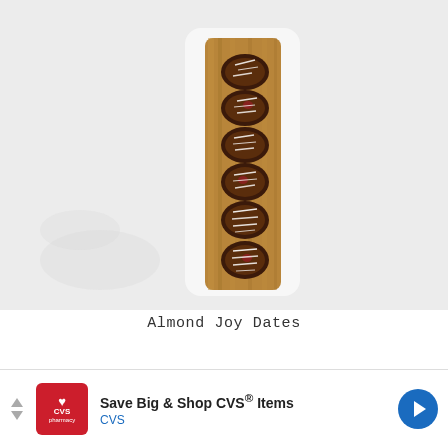[Figure (photo): Overhead photo of chocolate-dipped almond joy dates arranged in a vertical row on a wooden cutting board placed on a white marble surface. The dates are stuffed with almonds and topped with shredded coconut and dark chocolate.]
Almond Joy Dates
[Figure (other): Advertisement banner: CVS Pharmacy logo (red box with white heart and text), headline 'Save Big & Shop CVS® Items', brand name 'CVS' in blue, blue navigation arrows on left, blue circular arrow icon on right.]